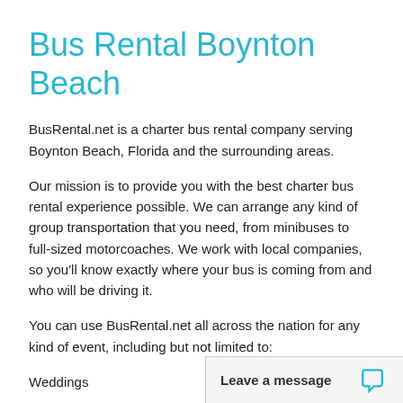Bus Rental Boynton Beach
BusRental.net is a charter bus rental company serving Boynton Beach, Florida and the surrounding areas.
Our mission is to provide you with the best charter bus rental experience possible. We can arrange any kind of group transportation that you need, from minibuses to full-sized motorcoaches. We work with local companies, so you'll know exactly where your bus is coming from and who will be driving it.
You can use BusRental.net all across the nation for any kind of event, including but not limited to:
Weddings
Corporate Events
Day Trips
Sporting Events